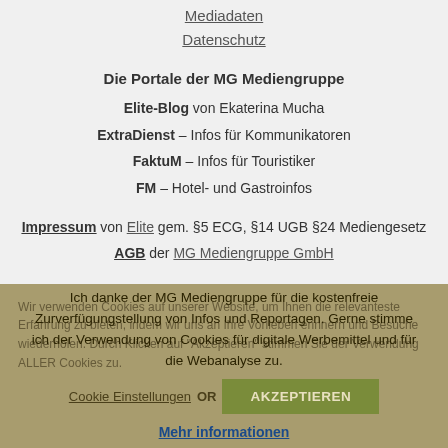Mediadaten
Datenschutz
Die Portale der MG Mediengruppe
Elite-Blog von Ekaterina Mucha
ExtraDienst – Infos für Kommunikatoren
FaktuM – Infos für Touristiker
FM – Hotel- und Gastroinfos
Impressum von Elite gem. §5 ECG, §14 UGB §24 Mediengesetz
AGB der MG Mediengruppe GmbH
Wir verwenden Cookies auf unserer Website, um Ihnen die relevanteste Erfahrung zu bieten, indem wir uns an Ihre Vorlieben erinnern und Besuche wiederholen. Durch Klicken auf "Akzeptieren" stimmen Sie der Verwendung ALLER Cookies zu.
Ich danke der MG Mediengruppe für die kostenfreie Zurverfügungstellung von Infos und Reportagen. Gerne stimme ich der Verwendung von Cookies für digitale Werbemittel und für die Webanalyse zu.
Cookie Einstellungen OR AKZEPTIEREN
Mehr informationen